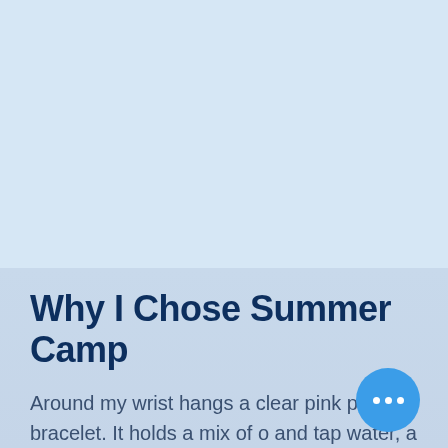[Figure (illustration): Light blue background area taking up the top portion of the page]
Why I Chose Summer Camp
Around my wrist hangs a clear pink plastic bracelet. It holds a mix of o and tap water, a simple and unremarkable combination that